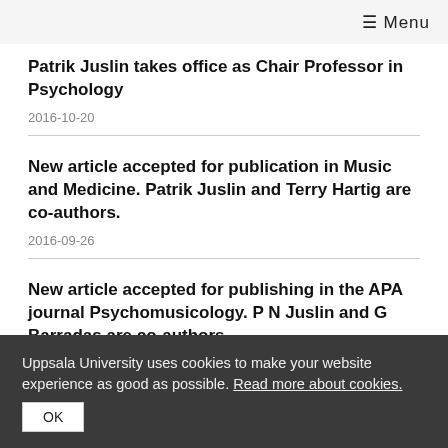≡ Menu
Patrik Juslin takes office as Chair Professor in Psychology
2016-10-20
New article accepted for publication in Music and Medicine. Patrik Juslin and Terry Hartig are co-authors.
2016-09-26
New article accepted for publishing in the APA journal Psychomusicology. P N Juslin and G Barradas are co-authors.
Uppsala University uses cookies to make your website experience as good as possible. Read more about cookies.